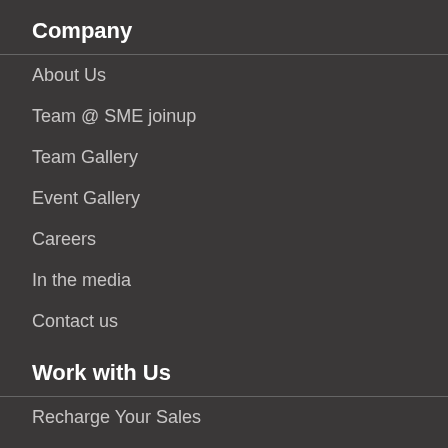Company
About Us
Team @ SME joinup
Team Gallery
Event Gallery
Careers
In the media
Contact us
Work with Us
Recharge Your Sales
Join Free
Buy Deals